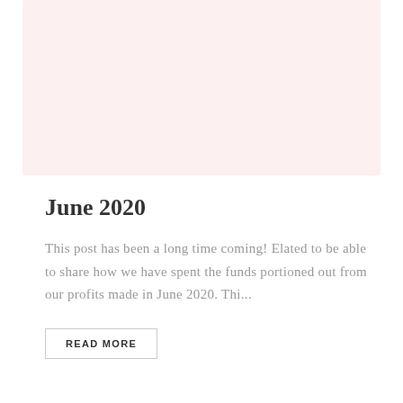[Figure (photo): Light pink/blush colored rectangular image placeholder area at top of page]
June 2020
This post has been a long time coming! Elated to be able to share how we have spent the funds portioned out from our profits made in June 2020. Thi...
READ MORE